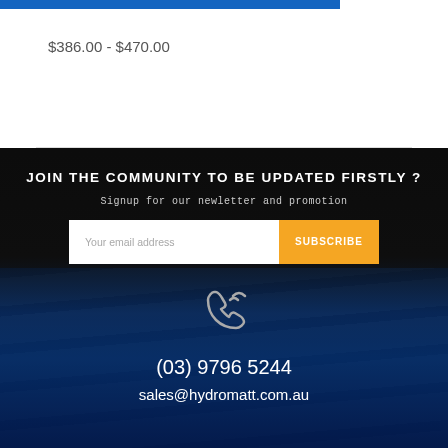$386.00 - $470.00
JOIN THE COMMUNITY TO BE UPDATED FIRSTLY ?
Signup for our newletter and promotion
Your email address
SUBSCRIBE
[Figure (illustration): Phone/call icon in outline style, white/grey colored]
(03) 9796 5244
sales@hydromatt.com.au